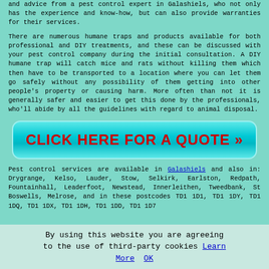and advice from a pest control expert in Galashiels, who not only has the experience and know-how, but can also provide warranties for their services.
There are numerous humane traps and products available for both professional and DIY treatments, and these can be discussed with your pest control company during the initial consultation. A DIY humane trap will catch mice and rats without killing them which then have to be transported to a location where you can let them go safely without any possibility of them getting into other people's property or causing harm. More often than not it is generally safer and easier to get this done by the professionals, who'll abide by all the guidelines with regard to animal disposal.
[Figure (other): Red 'CLICK HERE FOR A QUOTE >>' button on cyan/teal rounded rectangle background]
Pest control services are available in Galashiels and also in: Drygrange, Kelso, Lauder, Stow, Selkirk, Earlston, Redpath, Fountainhall, Leaderfoot, Newstead, Innerleithen, Tweedbank, St Boswells, Melrose, and in these postcodes TD1 1D1, TD1 1DY, TD1 1DQ, TD1 1DX, TD1 1DH, TD1 1DD, TD1 1D7
By using this website you are agreeing to the use of third-party cookies Learn More OK